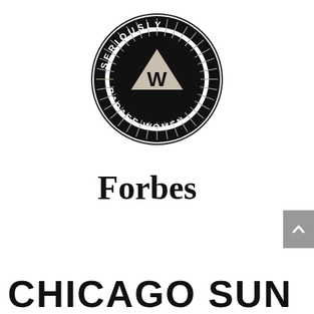[Figure (logo): Circular badge logo with text 'SERIOUSLY BADASS WOMEN' around the border and a 'W' in a triangle at the center, with radiating lines, black and white design]
Forbes
CHICAGO SUN TIMES